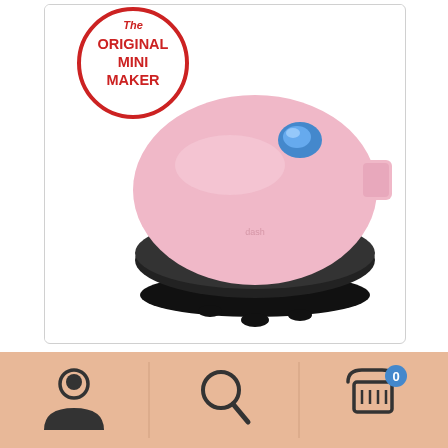[Figure (photo): Pink Dash DMS001PK Mini Maker Electric Round Griddle with a blue indicator light on top, black base with feet, and a circular badge in top-left corner reading 'The ORIGINAL MINI MAKER' in red text on white background with red border.]
Dash DMS001PK Mini Maker Electric Round Griddle for Individual Pancakes, Cookies, Eggs & other on the go Breakfast, Lunch & Snacks with Indicator Light + Included Recipe Book – Pink
[Figure (screenshot): Mobile app bottom navigation bar with peach/salmon background containing three icons: a user/profile icon on the left, a search/magnifying glass icon in the center, and a shopping cart icon with a '0' badge on the right.]